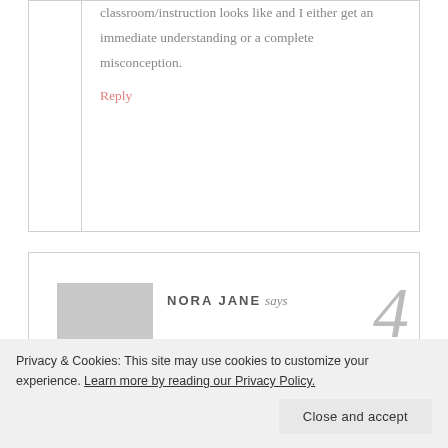classroom/instruction looks like and I either get an immediate understanding or a complete misconception.
Reply
NORA JANE says
[Figure (illustration): Avatar placeholder with gray background and silhouette head shape, and decorative italic numeral 4]
Principals and directors of schools and
Privacy & Cookies: This site may use cookies to customize your experience. Learn more by reading our Privacy Policy.
Close and accept